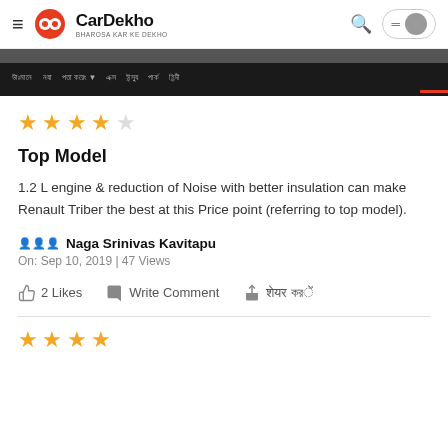CarDekho - BHAROSA KAR KE DEKHO
[Figure (screenshot): Navigation bar with menu items in Hindi/Devanagari script on dark background]
[Figure (other): Star rating showing 3.5 out of 5 stars (4 filled, 1 empty)]
Top Model
1.2 L engine & reduction of Noise with better insulation can make Renault Triber the best at this Price point (referring to top model).
👤 Naga Srinivas Kavitapu
On: Sep 10, 2019 | 47 Views
👍 2 Likes  💬 Write Comment  ➤ शेयर करें